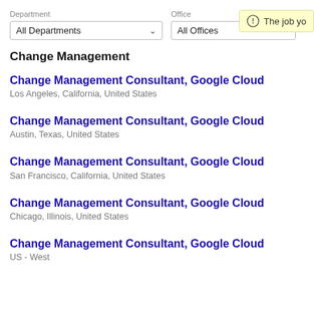Department
All Departments
Office
All Offices
The job yo...
Change Management
Change Management Consultant, Google Cloud
Los Angeles, California, United States
Change Management Consultant, Google Cloud
Austin, Texas, United States
Change Management Consultant, Google Cloud
San Francisco, California, United States
Change Management Consultant, Google Cloud
Chicago, Illinois, United States
Change Management Consultant, Google Cloud
US - West